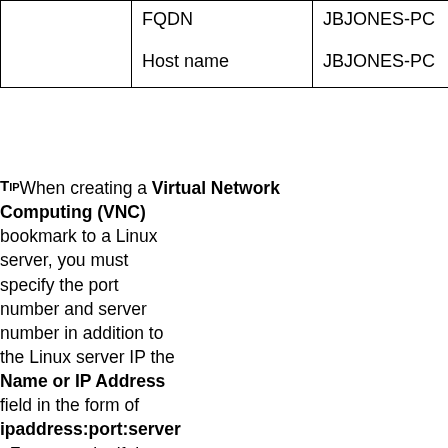|  | FQDN | JBJONES-PC |
|  | Host name | JBJONES-PC |
Tip When creating a Virtual Network Computing (VNC) bookmark to a Linux server, you must specify the port number and server number in addition to the Linux server IP the Name or IP Address field in the form of ipaddress:port:server. For example, if the Linux server IP address is 192.168.2.2, the port number is 5901, and the server number is 1, the value for the Name or IP Address field would be